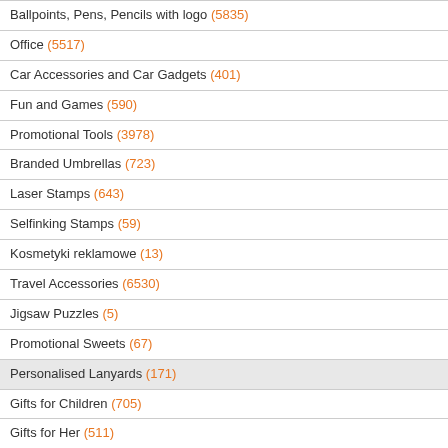Ballpoints, Pens, Pencils with logo (5835)
Office (5517)
Car Accessories and Car Gadgets (401)
Fun and Games (590)
Promotional Tools (3978)
Branded Umbrellas (723)
Laser Stamps (643)
Selfinking Stamps (59)
Kosmetyki reklamowe (13)
Travel Accessories (6530)
Jigsaw Puzzles (5)
Promotional Sweets (67)
Personalised Lanyards (171)
Gifts for Children (705)
Gifts for Her (511)
Leaflet Printing, business card printing (45)
Summer Holiday Accessories (2773)
Custom Watches (545)
Pin Badges (23)
Engraved Gifts (2)
Laser Cutting (3)
[Figure (photo): Orange branded lanyard with SCC SYSCOM text, showing buckle and cord attachment accessories]
Products
First | Previous | 1 | 2 | 3 | 4 | 5
Items per page: 12 | 24 | 36 | 48
Serge badge holder